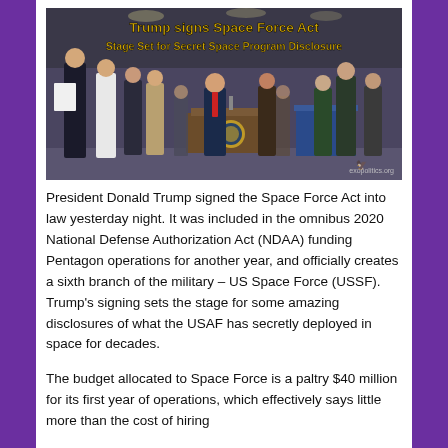[Figure (photo): Photo of President Trump signing the Space Force Act at a podium with presidential seal, surrounded by officials and family members in a large indoor venue. Text overlay reads: 'Trump signs Space Force Act / Stage Set for Secret Space Program Disclosure' in gold/yellow. Watermark: exopolitics.org]
President Donald Trump signed the Space Force Act into law yesterday night. It was included in the omnibus 2020 National Defense Authorization Act (NDAA) funding Pentagon operations for another year, and officially creates a sixth branch of the military – US Space Force (USSF). Trump's signing sets the stage for some amazing disclosures of what the USAF has secretly deployed in space for decades.
The budget allocated to Space Force is a paltry $40 million for its first year of operations, which effectively says little more than the cost of hiring...